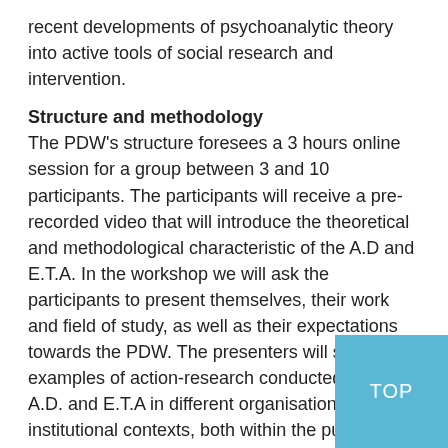recent developments of psychoanalytic theory into active tools of social research and intervention.
Structure and methodology
The PDW's structure foresees a 3 hours online session for a group between 3 and 10 participants. The participants will receive a pre-recorded video that will introduce the theoretical and methodological characteristic of the A.D and E.T.A. In the workshop we will ask the participants to present themselves, their work and field of study, as well as their expectations towards the PDW. The presenters will share examples of action-research conducted using A.D. and E.T.A in different organisational and institutional contexts, both within the public and the private sector, focusing on the main methodological characteristics of the intervention. Furthermore, we will practically